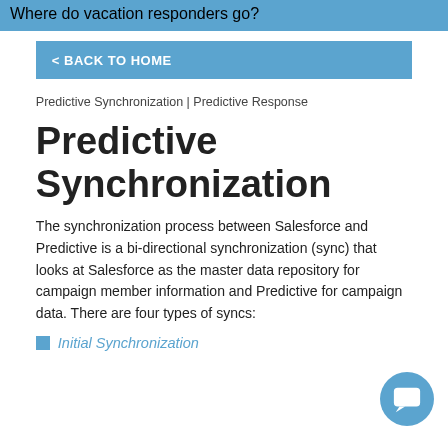Where do vacation responders go?
< BACK TO HOME
Predictive Synchronization | Predictive Response
Predictive Synchronization
The synchronization process between Salesforce and Predictive is a bi-directional synchronization (sync) that looks at Salesforce as the master data repository for campaign member information and Predictive for campaign data. There are four types of syncs:
Initial Synchronization